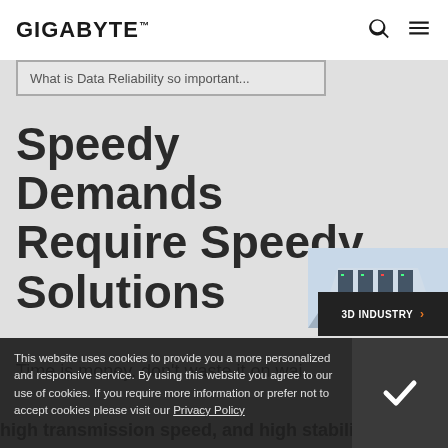GIGABYTE
What is Data Reliability so important...
Speedy Demands Require Speedy Solutions
[Figure (illustration): 3D industry illustration showing a data center/server room environment with a '3D INDUSTRY >' badge]
Time is money, don't waste it on waiting. AI...ully s...ing t...mpion.
high transmission speed, and high stability
This website uses cookies to provide you a more personalized and responsive service. By using this website you agree to our use of cookies. If you require more information or prefer not to accept cookies please visit our Privacy Policy